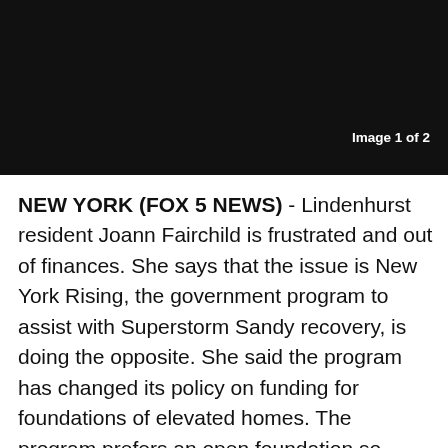[Figure (photo): Black header image area at top of page]
Image 1 of 2
NEW YORK (FOX 5 NEWS) - Lindenhurst resident Joann Fairchild is frustrated and out of finances. She says that the issue is New York Rising, the government program to assist with Superstorm Sandy recovery, is doing the opposite. She said the program has changed its policy on funding for foundations of elevated homes. The program prefers an open foundation so water can flow through. But ever since the storm, closed foundations like Joann's are now required by the Town and Village of Babylon and the Village of Lindenhurst to build